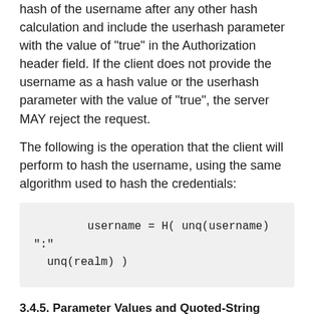hash of the username after any other hash calculation and include the userhash parameter with the value of "true" in the Authorization header field. If the client does not provide the username as a hash value or the userhash parameter with the value of "true", the server MAY reject the request.
The following is the operation that the client will perform to hash the username, using the same algorithm used to hash the credentials:
3.4.5. Parameter Values and Quoted-String
Note that the value of many of the parameters, such as username value, are defined as a "quoted-string". However, the "unq" notation indicates that surrounding quotation marks are removed in forming the string A1. Thus, if the Authorization header field includes the fields